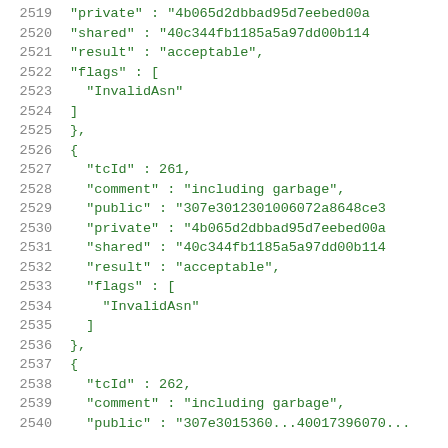2519    "private" : "4b065d2dbbad95d7eebed00a
2520    "shared" : "40c344fb1185a5a97dd00b114
2521    "result" : "acceptable",
2522    "flags" : [
2523        "InvalidAsn"
2524    ]
2525    },
2526    {
2527    "tcId" : 261,
2528    "comment" : "including garbage",
2529    "public" : "307e3012301006072a8648ce3
2530    "private" : "4b065d2dbbad95d7eebed00a
2531    "shared" : "40c344fb1185a5a97dd00b114
2532    "result" : "acceptable",
2533    "flags" : [
2534        "InvalidAsn"
2535    ]
2536    },
2537    {
2538    "tcId" : 262,
2539    "comment" : "including garbage",
2540    "public" : "307e3015360...40017396070...